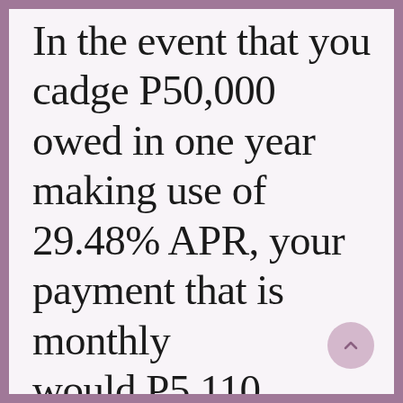In the event that you cadge P50,000 owed in one year making use of 29.48% APR, your payment that is monthly would P5,110.